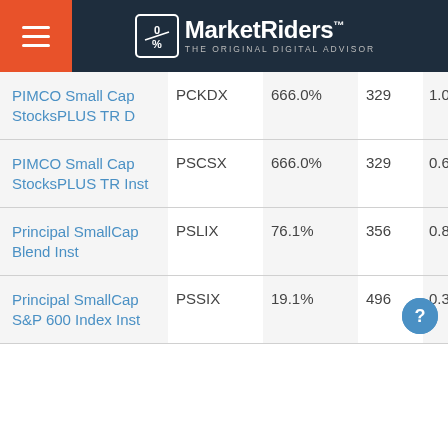MarketRiders THE ORIGINAL DIGITAL ADVISOR
| Fund Name | Ticker | Return | Holdings | Expense |
| --- | --- | --- | --- | --- |
| PIMCO Small Cap StocksPLUS TR D | PCKDX | 666.0% | 329 | 1.09 |
| PIMCO Small Cap StocksPLUS TR Inst | PSCSX | 666.0% | 329 | 0.69 |
| Principal SmallCap Blend Inst | PSLIX | 76.1% | 356 | 0.82 |
| Principal SmallCap S&P 600 Index Inst | PSSIX | 19.1% | 496 | 0.30 |